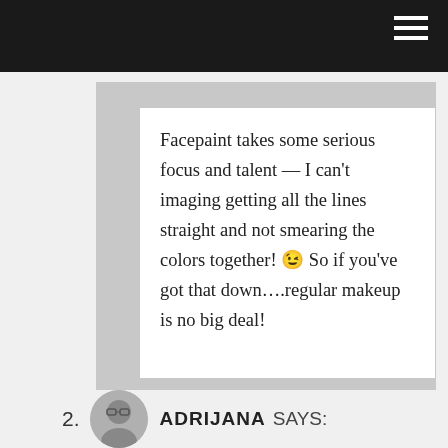Facepaint takes some serious focus and talent — I can't imaging getting all the lines straight and not smearing the colors together! 😉 So if you've got that down….regular makeup is no big deal!
2. ADRIJANA SAYS: